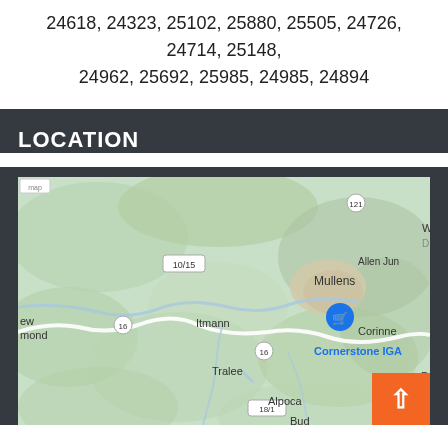24618, 24323, 25102, 25880, 25505, 24726, 24714, 25148, 24962, 25692, 25985, 24985, 24894
LOCATION
[Figure (map): Google Maps screenshot showing the area around Mullens, West Virginia, including locations such as Itmann, Tralee, Alpoca, Bud, Allen Junction, Corinne, with roads 10/15, 16, 18/1, 121 marked. A blue shopping cart pin marks Cornerstone IGA.]